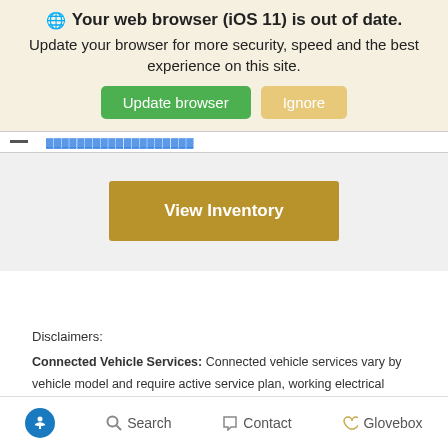Your web browser (iOS 11) is out of date.
Update your browser for more security, speed and the best experience on this site.
[Figure (screenshot): Two buttons: green 'Update browser' and tan 'Ignore']
[Figure (screenshot): Gold/dark-yellow 'View Inventory' button]
Disclaimers:
Connected Vehicle Services: Connected vehicle services vary by vehicle model and require active service plan, working electrical system, cell reception and GPS signal. OnStar links to emergency
Accessibility  Search  Contact  Glovebox